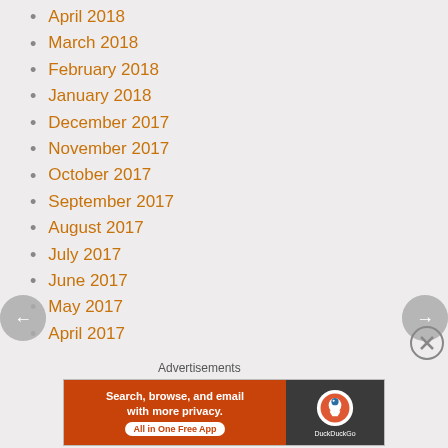April 2018
March 2018
February 2018
January 2018
December 2017
November 2017
October 2017
September 2017
August 2017
July 2017
June 2017
May 2017
April 2017
Advertisements
[Figure (screenshot): DuckDuckGo advertisement banner: orange left panel with text 'Search, browse, and email with more privacy. All in One Free App', dark right panel with DuckDuckGo logo and name]